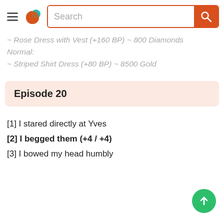Search
~ Rose Dress with Vest (+160 BP) ~ 800 Diamonds Normal:
~ Striped Shirt Dress (+80 BP) ~ 8500 Gold
Episode 20
[1] I stared directly at Yves
[2] I begged them (+4 / +4)
[3] I bowed my head humbly